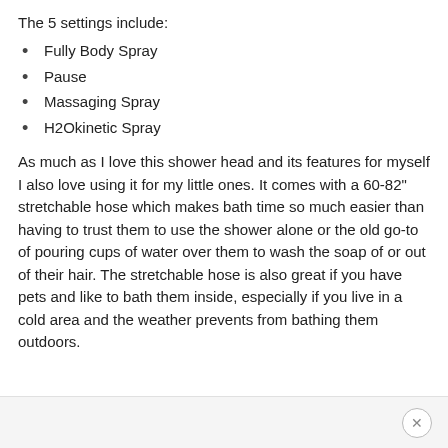The 5 settings include:
Fully Body Spray
Pause
Massaging Spray
H2Okinetic Spray
As much as I love this shower head and its features for myself I also love using it for my little ones. It comes with a 60-82" stretchable hose which makes bath time so much easier than having to trust them to use the shower alone or the old go-to of pouring cups of water over them to wash the soap of or out of their hair. The stretchable hose is also great if you have pets and like to bath them inside, especially if you live in a cold area and the weather prevents from bathing them outdoors.
×